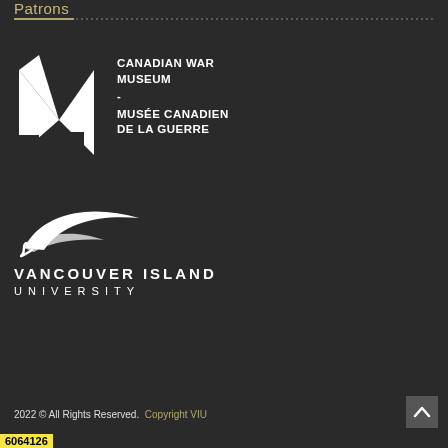Patrons
[Figure (logo): Canadian War Museum logo — white geometric M/A shape mark with text: CANADIAN WAR MUSEUM - MUSÉE CANADIEN DE LA GUERRE]
[Figure (logo): Vancouver Island University logo — white stylized leaf/wings mark above text VANCOUVER ISLAND UNIVERSITY]
2022 © All Rights Reserved. Copyright VIU
6064126